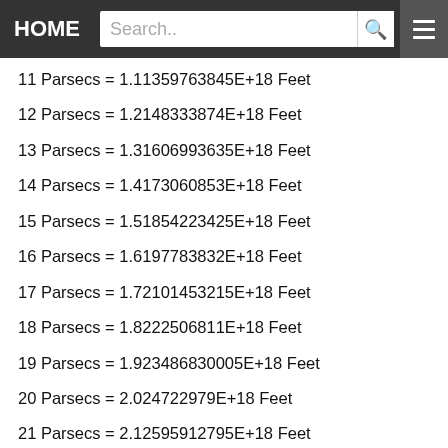HOME | Search..
11 Parsecs = 1.11359763845E+18 Feet
12 Parsecs = 1.2148333874E+18 Feet
13 Parsecs = 1.31606993635E+18 Feet
14 Parsecs = 1.4173060853E+18 Feet
15 Parsecs = 1.518542223425E+18 Feet
16 Parsecs = 1.6197783832E+18 Feet
17 Parsecs = 1.72101453215E+18 Feet
18 Parsecs = 1.8222506811E+18 Feet
19 Parsecs = 1.923486830005E+18 Feet
20 Parsecs = 2.024722979E+18 Feet
21 Parsecs = 2.12595912795E+18 Feet